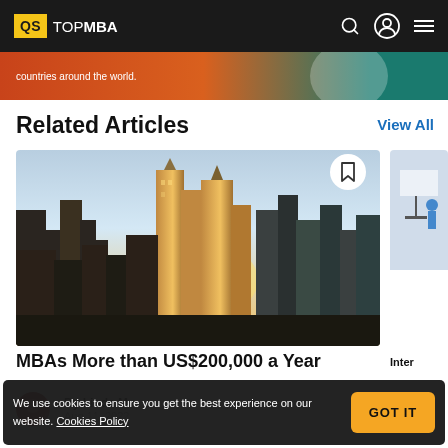QS TOPMBA
[Figure (screenshot): Partial banner with text 'countries around the world.' on orange/teal gradient background]
Related Articles
View All
[Figure (photo): City skyline photo with sun setting between skyscrapers, likely New York City]
MBAs More than US$200,000 a Year
By Linda M
Aug 11, 2022
[Figure (photo): Partial image of second article card showing a presentation/teaching scene]
Inter
We use cookies to ensure you get the best experience on our website. Cookies Policy
GOT IT